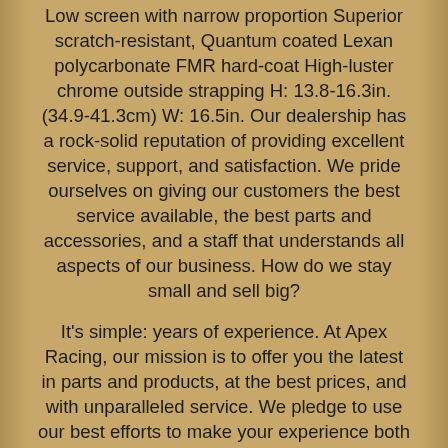Low screen with narrow proportion Superior scratch-resistant, Quantum coated Lexan polycarbonate FMR hard-coat High-luster chrome outside strapping H: 13.8-16.3in. (34.9-41.3cm) W: 16.5in. Our dealership has a rock-solid reputation of providing excellent service, support, and satisfaction. We pride ourselves on giving our customers the best service available, the best parts and accessories, and a staff that understands all aspects of our business. How do we stay small and sell big?
It's simple: years of experience. At Apex Racing, our mission is to offer you the latest in parts and products, at the best prices, and with unparalleled service. We pledge to use our best efforts to make your experience both beneficial and enjoyable. Once you give us a try, we're sure you'll be back for more! The item "National Cycle Ranger Heavy Duty Windshield N2290" is in sale since Wednesday, September 19, 2018.
This item is in the category "eBay Motors\Parts & Accessories\Motorcycle Parts\Body & Frame\Windshields". The seller is "apex*racing" and is located in Troy, Ohio. This item can be shipped to United States, Canada, United Kingdom, Denmark, Romania, Slovakia, Bulgaria, Czech republic, Finland,